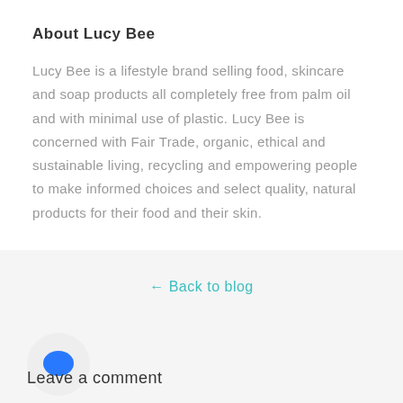About Lucy Bee
Lucy Bee is a lifestyle brand selling food, skincare and soap products all completely free from palm oil and with minimal use of plastic. Lucy Bee is concerned with Fair Trade, organic, ethical and sustainable living, recycling and empowering people to make informed choices and select quality, natural products for their food and their skin.
← Back to blog
[Figure (illustration): Blue speech bubble / comment icon inside a light grey circle]
Leave a comment